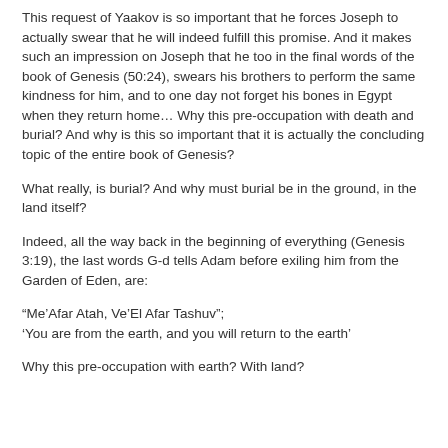This request of Yaakov is so important that he forces Joseph to actually swear that he will indeed fulfill this promise. And it makes such an impression on Joseph that he too in the final words of the book of Genesis (50:24), swears his brothers to perform the same kindness for him, and to one day not forget his bones in Egypt when they return home… Why this pre-occupation with death and burial? And why is this so important that it is actually the concluding topic of the entire book of Genesis?
What really, is burial? And why must burial be in the ground, in the land itself?
Indeed, all the way back in the beginning of everything (Genesis 3:19), the last words G-d tells Adam before exiling him from the Garden of Eden, are:
“Me’Afar Atah, Ve’El Afar Tashuv”;
‘You are from the earth, and you will return to the earth’
Why this pre-occupation with earth? With land?